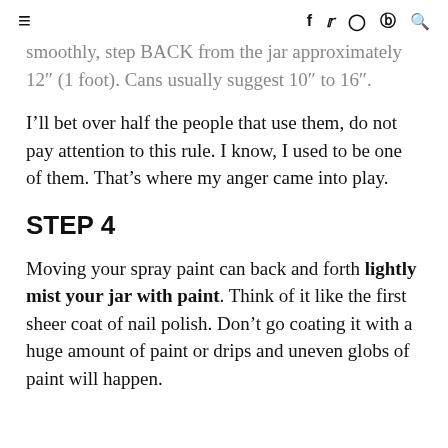≡   f  t  ◎  ⓟ  🔍
smoothly, step BACK from the jar approximately 12″ (1 foot). Cans usually suggest 10″ to 16″.
I'll bet over half the people that use them, do not pay attention to this rule. I know, I used to be one of them. That's where my anger came into play.
STEP 4
Moving your spray paint can back and forth lightly mist your jar with paint. Think of it like the first sheer coat of nail polish. Don't go coating it with a huge amount of paint or drips and uneven globs of paint will happen.